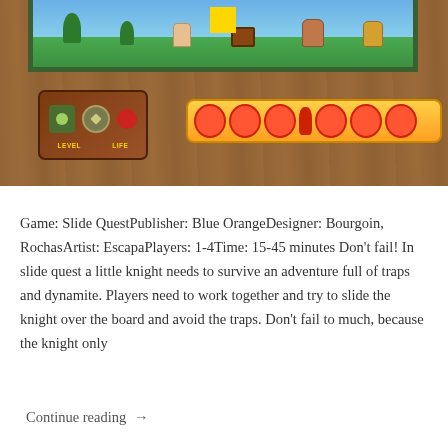[Figure (photo): Photo of a board game (Slide Quest) on a wooden table. Shows the colorful game box with cartoon knights/characters scene at top, a player board card showing LEVEL and LIFE icons, and a life track bar with heart tokens and a red pawn meeple on a wooden table surface.]
Game: Slide QuestPublisher: Blue OrangeDesigner: Bourgoin, RochasArtist: EscapaPlayers: 1-4Time: 15-45 minutes Don't fail! In slide quest a little knight needs to survive an adventure full of traps and dynamite. Players need to work together and try to slide the knight over the board and avoid the traps. Don't fail to much, because the knight only
Continue reading →